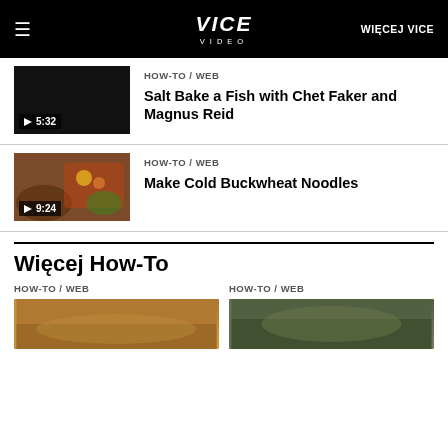≡  VICE VIDEO  WIĘCEJ VICE
[Figure (screenshot): Video thumbnail for Salt Bake a Fish with Chet Faker and Magnus Reid, dark background with play button and duration 5:32]
HOW-TO / WEB
Salt Bake a Fish with Chet Faker and Magnus Reid
[Figure (photo): Photo of a tray with sushi/noodles and vegetables colorfully arranged. Video thumbnail with play button and duration 9:24]
HOW-TO / WEB
Make Cold Buckwheat Noodles
Więcej How-To
HOW-TO / WEB
HOW-TO / WEB
[Figure (photo): Thumbnail photo on left side — food item]
[Figure (photo): Thumbnail photo on right side — food item]